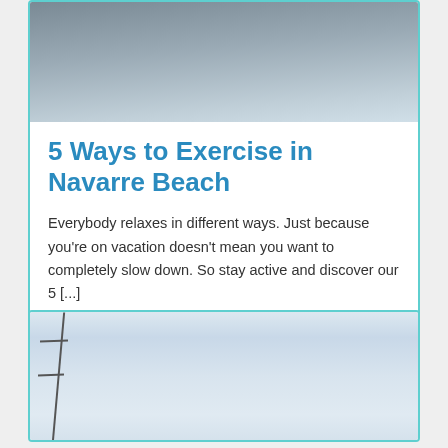[Figure (photo): Aerial or beach photo showing dark water/sand — partially visible at top of first card]
5 Ways to Exercise in Navarre Beach
Everybody relaxes in different ways. Just because you're on vacation doesn't mean you want to completely slow down. So stay active and discover our 5 [...]
READ MORE →
[Figure (photo): Sailboat mast against a hazy sky and calm sea at dusk — second card photo]